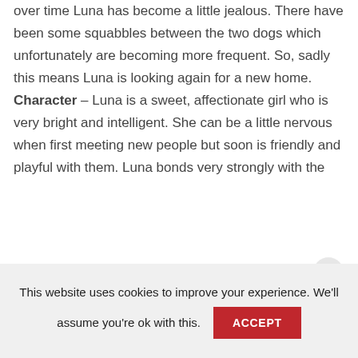over time Luna has become a little jealous. There have been some squabbles between the two dogs which unfortunately are becoming more frequent. So, sadly this means Luna is looking again for a new home. Character – Luna is a sweet, affectionate girl who is very bright and intelligent. She can be a little nervous when first meeting new people but soon is friendly and playful with them. Luna bonds very strongly with the
This website uses cookies to improve your experience. We'll assume you're ok with this.